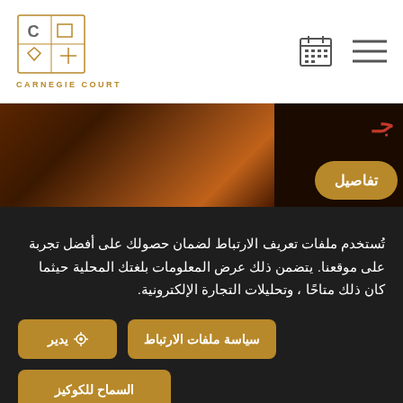[Figure (logo): Carnegie Court logo with geometric icon and gold text]
[Figure (photo): Partial photo of a venue with golden details button in Arabic (تفاصيل)]
تُستخدم ملفات تعريف الارتباط لضمان حصولك على أفضل تجربة على موقعنا. يتضمن ذلك عرض المعلومات بلغتك المحلية حيثما كان ذلك متاحًا ، وتحليلات التجارة الإلكترونية.
سياسة ملفات الارتباط
يدير
السماح للكوكيز